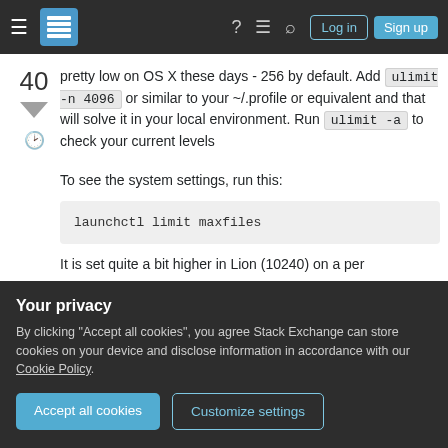Stack Exchange navigation bar with Log in and Sign up buttons
pretty low on OS X these days - 256 by default. Add ulimit -n 4096 or similar to your ~/.profile or equivalent and that will solve it in your local environment. Run ulimit -a to check your current levels
To see the system settings, run this:
launchctl limit maxfiles
It is set quite a bit higher in Lion (10240) on a per
Your privacy
By clicking "Accept all cookies", you agree Stack Exchange can store cookies on your device and disclose information in accordance with our Cookie Policy.
Share    answered Jun 7, 2012 at 11:09